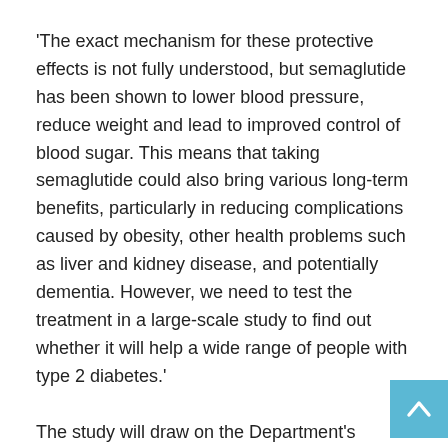'The exact mechanism for these protective effects is not fully understood, but semaglutide has been shown to lower blood pressure, reduce weight and lead to improved control of blood sugar. This means that taking semaglutide could also bring various long-term benefits, particularly in reducing complications caused by obesity, other health problems such as liver and kidney disease, and potentially dementia. However, we need to test the treatment in a large-scale study to find out whether it will help a wide range of people with type 2 diabetes.'
The study will draw on the Department's established expertise in leading large, streamlined, ground-breaking trials. Rather than seeing participants in person, the treatment with oral semaglutide or a placebo will be sent to them by post.